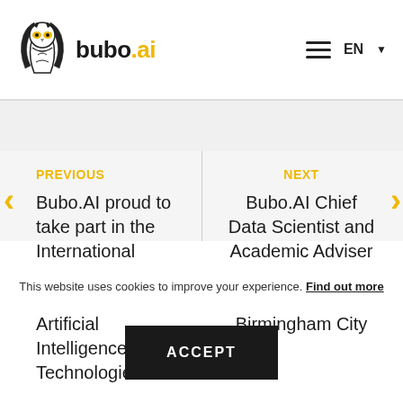[Figure (logo): Bubo.AI owl logo with stylized owl icon and text 'bubo.ai' where '.ai' is in yellow]
PREVIOUS
Bubo.AI proud to take part in the International Conference on Education and Artificial Intelligence Technologies
NEXT
Bubo.AI Chief Data Scientist and Academic Adviser appointed Associate Dean at Birmingham City
This website uses cookies to improve your experience. Find out more
ACCEPT